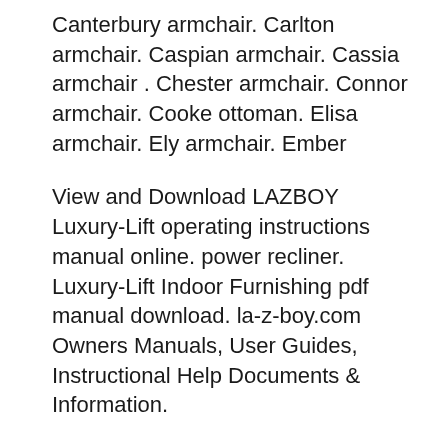Canterbury armchair. Carlton armchair. Caspian armchair. Cassia armchair . Chester armchair. Connor armchair. Cooke ottoman. Elisa armchair. Ely armchair. Ember
View and Download LAZBOY Luxury-Lift operating instructions manual online. power recliner. Luxury-Lift Indoor Furnishing pdf manual download. la-z-boy.com Owners Manuals, User Guides, Instructional Help Documents & Information.
02/06/2016B B· Level out floor for vinyl floor Level out breakouts Fill and level off Parquet - Duration: 18:51. floorcenter.eu Recommended for you Reliable Recliner Replacement Parts -